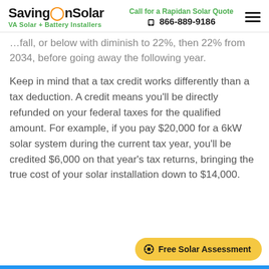SavingOnSolar — VA Solar + Battery Installers | Call for a Rapidan Solar Quote 866-889-9186
…fall, or below with diminish to 22%, then 22% from 2034, before going away the following year.
Keep in mind that a tax credit works differently than a tax deduction. A credit means you'll be directly refunded on your federal taxes for the qualified amount. For example, if you pay $20,000 for a 6kW solar system during the current tax year, you'll be credited $6,000 on that year's tax returns, bringing the true cost of your solar installation down to $14,000.